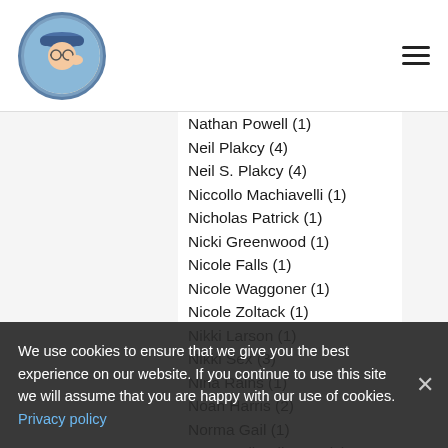Blog author list page header with logo and hamburger menu
Nathan Powell  (1)
Neil Plakcy  (4)
Neil S. Plakcy  (4)
Niccollo Machiavelli  (1)
Nicholas Patrick  (1)
Nicki Greenwood  (1)
Nicole Falls  (1)
Nicole Waggoner  (1)
Nicole Zoltack  (1)
Nikki Larson  (1)
Nikki Sex  (3)
Nina Rains  (1)
Noah Harris  (2)
Norma Gail  (1)
Normandie Alleman  (4)
O.J. Modieska  (1)
Oliver Kent PhD  (1)
Oliver Strong  (1)
Olympia Black  (2)
P. G. Allison  (4)
P. G. Wodehouse  (1)
We use cookies to ensure that we give you the best experience on our website. If you continue to use this site we will assume that you are happy with our use of cookies.
Privacy policy